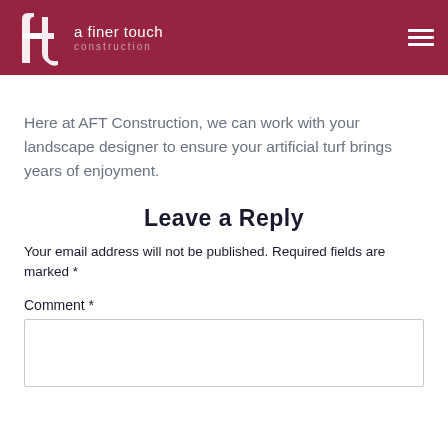a finer touch construction
Here at AFT Construction, we can work with your landscape designer to ensure your artificial turf brings years of enjoyment.
Leave a Reply
Your email address will not be published. Required fields are marked *
Comment *